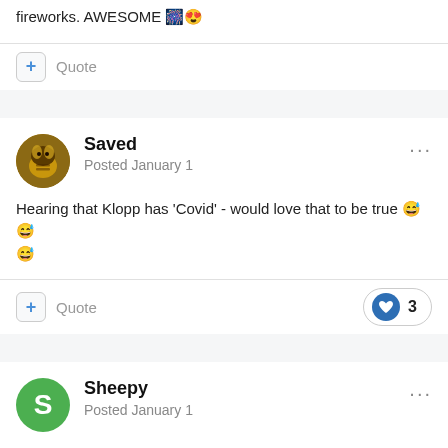fireworks. AWESOME 🎆😍
+ Quote
Saved
Posted January 1
Hearing that Klopp has 'Covid' - would love that to be true 😅😅😅
+ Quote   ♥ 3
Sheepy
Posted January 1